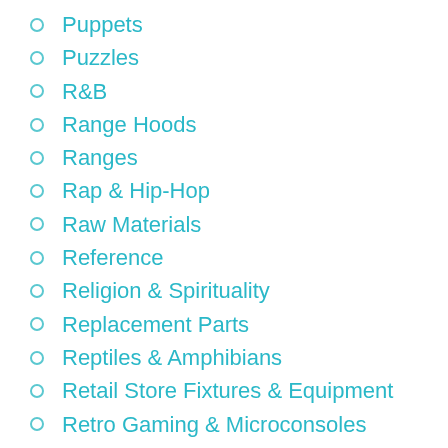Puppets
Puzzles
R&B
Range Hoods
Ranges
Rap & Hip-Hop
Raw Materials
Reference
Religion & Spirituality
Replacement Parts
Reptiles & Amphibians
Retail Store Fixtures & Equipment
Retro Gaming & Microconsoles
Rock
Romance